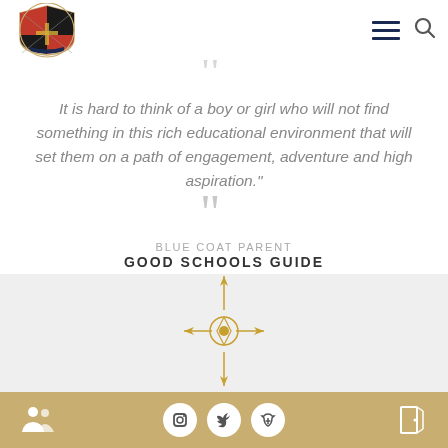[Figure (logo): Blue Coat School Birmingham crest/shield logo]
It is hard to think of a boy or girl who will not find something in this rich educational environment that will set them on a path of engagement, adventure and high aspiration.
BLUE COAT PARENT
GOOD SCHOOLS GUIDE
[Figure (illustration): Golden compass rose / cross ornamental icon]
[Figure (illustration): Footer with social media icons (Instagram, Twitter, Facebook), people icon on left, door icon on right]